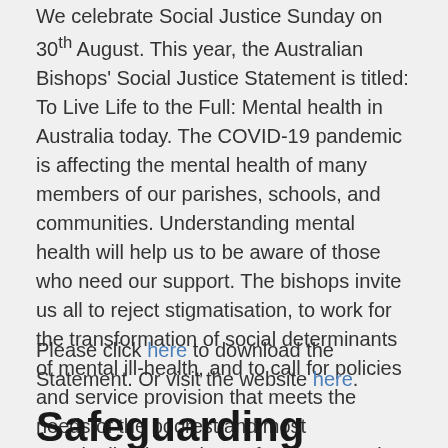We celebrate Social Justice Sunday on 30th August. This year, the Australian Bishops' Social Justice Statement is titled: To Live Life to the Full: Mental health in Australia today. The COVID-19 pandemic is affecting the mental health of many members of our parishes, schools, and communities. Understanding mental health will help us to be aware of those who need our support. The bishops invite us all to reject stigmatisation, to work for the transformation of social determinants of mental ill-health, and to call for policies and service provision that meets the needs of the poorest and most marginalised members of our community.
Please click here to download the Statement. Or visit the website here.
Safeguarding